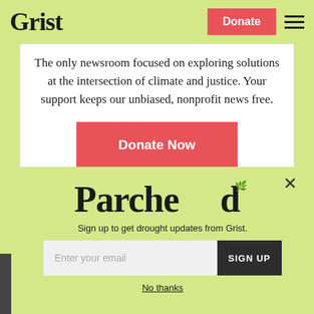Grist | Donate | Menu
The only newsroom focused on exploring solutions at the intersection of climate and justice. Your support keeps our unbiased, nonprofit news free.
Donate Now
[Figure (logo): Parched logo with decorative plant element on the letter 'd']
Sign up to get drought updates from Grist.
Enter your email | SIGN UP
No thanks